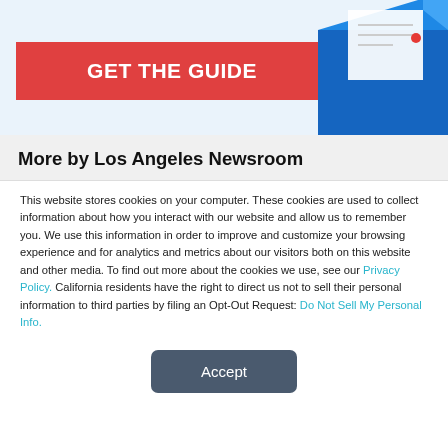[Figure (illustration): Light blue banner with a red 'GET THE GUIDE' button on the left and a blue envelope illustration on the right]
More by Los Angeles Newsroom
This website stores cookies on your computer. These cookies are used to collect information about how you interact with our website and allow us to remember you. We use this information in order to improve and customize your browsing experience and for analytics and metrics about our visitors both on this website and other media. To find out more about the cookies we use, see our Privacy Policy. California residents have the right to direct us not to sell their personal information to third parties by filing an Opt-Out Request: Do Not Sell My Personal Info.
Accept